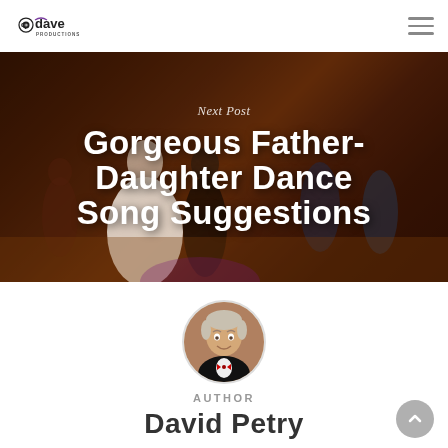dj dave PRODUCTIONS [logo] [hamburger menu]
[Figure (photo): Wedding reception dance scene with bride in white dress dancing with guests in dim warm lighting. Overlaid text reads 'Next Post' and 'Gorgeous Father-Daughter Dance Song Suggestions']
Next Post
Gorgeous Father-Daughter Dance Song Suggestions
[Figure (photo): Circular portrait photo of David Petry, a man in a black tuxedo with red bow tie, smiling]
Author
David Petry